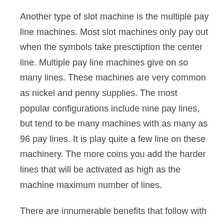Another type of slot machine is the multiple pay line machines. Most slot machines only pay out when the symbols take presctiption the center line. Multiple pay line machines give on so many lines. These machines are very common as nickel and penny supplies. The most popular configurations include nine pay lines, but tend to be many machines with as many as 96 pay lines. It is play quite a few line on these machinery. The more coins you add the harder lines that will be activated as high as the machine maximum number of lines.
There are innumerable benefits that follow with free online slots. For instance, by opting free gratis online slots you can play your favorite slot games and this too without risking real financial wealth. This will allow you to wager as well as play without having to worry whether you will lose your hard earned money or truly. Over and above, this also helps people who aren't equipped to deposit a real income for enjoying the game play irrespective